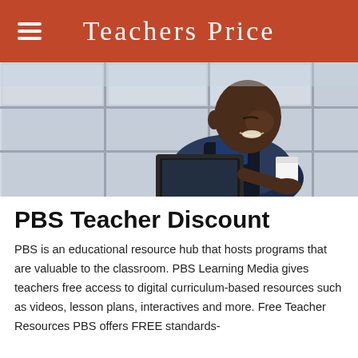Teachers Price
[Figure (photo): A smiling Black man looking down at a laptop and holding a white cup, photographed in a bright office or building interior.]
PBS Teacher Discount
PBS is an educational resource hub that hosts programs that are valuable to the classroom. PBS Learning Media gives teachers free access to digital curriculum-based resources such as videos, lesson plans, interactives and more. Free Teacher Resources PBS offers FREE standards-